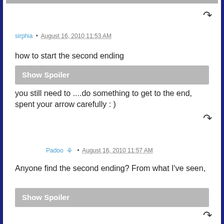sirphia • August 16, 2010 11:53 AM
how to start the second ending
Show Spoiler
you still need to ....do something to get to the end, spent your arrow carefully : )
Padoo • August 16, 2010 11:57 AM
Anyone find the second ending? From what I've seen,
Show Spoiler